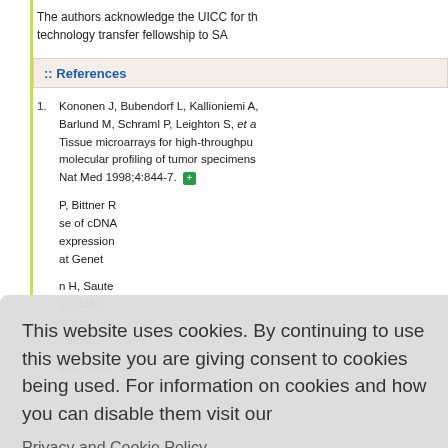The authors acknowledge the UICC for the technology transfer fellowship to SA
:: References
Kononen J, Bubendorf L, Kallioniemi A, Barlund M, Schraml P, Leighton S, et al. Tissue microarrays for high-throughput molecular profiling of tumor specimens. Nat Med 1998;4:844-7.
[partial] P, Bittner R, ...use of cDNA ...expression ...at Genet
[partial] n H, Saute ...y (TMA): ...ves for hig ...Pathol
[partial] tion, and u of tissue microarrays. Met Mol Biol
This website uses cookies. By continuing to use this website you are giving consent to cookies being used. For information on cookies and how you can disable them visit our Privacy and Cookie Policy.
AGREE & PROCEED